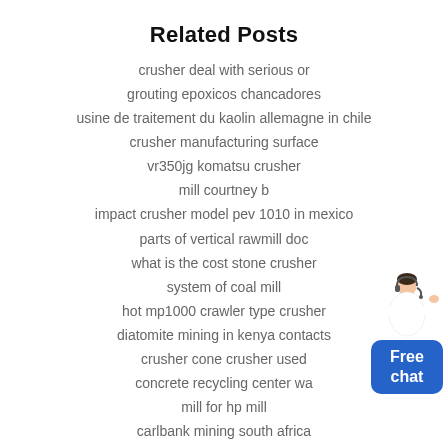Related Posts
crusher deal with serious or
grouting epoxicos chancadores
usine de traitement du kaolin allemagne in chile
crusher manufacturing surface
vr350jg komatsu crusher
mill courtney b
impact crusher model pev 1010 in mexico
parts of vertical rawmill doc
what is the cost stone crusher
system of coal mill
hot mp1000 crawler type crusher
diatomite mining in kenya contacts
crusher cone crusher used
concrete recycling center wa
mill for hp mill
carlbank mining south africa
how aggregate crusher work
old quarry stone crusher
[Figure (illustration): Customer service representative in white uniform with blue chat button widget showing 'Free chat']